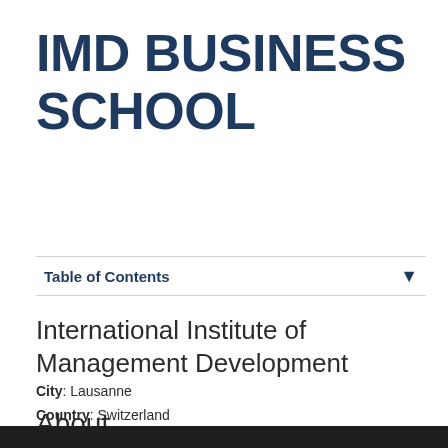IMD BUSINESS SCHOOL
Table of Contents
International Institute of Management Development
City: Lausanne
Country: Switzerland
About
IMD builds competition through learning. Located in Switzerland, IMDs strong global approach brings